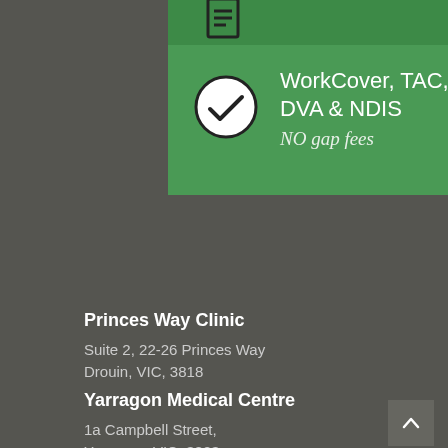[Figure (infographic): Green panel with checkmark circle icon and text about WorkCover, TAC, DVA & NDIS with NO gap fees]
WorkCover, TAC, DVA & NDIS
NO gap fees
Princes Way Clinic
Suite 2, 22-26 Princes Way
Drouin, VIC, 3818
Yarragon Medical Centre
1a Campbell Street,
Yarragon, VIC, 3823